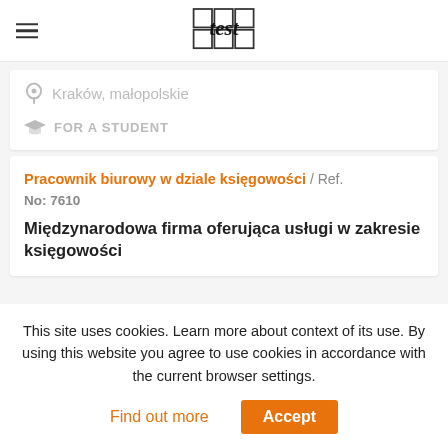test (logo)
Kraków, małopolskie
FOR A STUDENT
Pracownik biurowy w dziale księgowości / Ref. No: 7610
Międzynarodowa firma oferująca usługi w zakresie księgowości
This site uses cookies. Learn more about context of its use. By using this website you agree to use cookies in accordance with the current browser settings.
Find out more
Accept